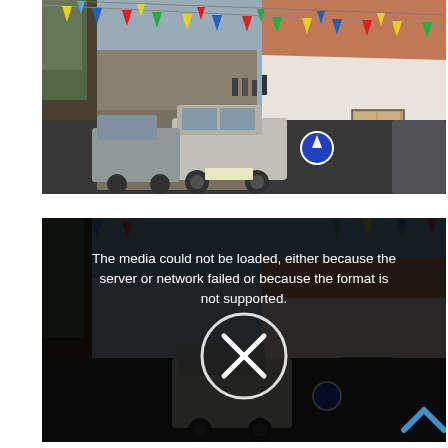[Figure (photo): Street scene with colorful bunting/flags strung across a narrow road, white buildings on the right, parked cars including a silver minivan in the foreground, people visible in the middle distance, taken from an elevated viewpoint.]
[Figure (photo): Similar street scene photo (appears to be a video player) with a media error overlay message reading: 'The media could not be loaded, either because the server or network failed or because the format is not supported.' with an X icon in a circle, and a blue chevron-up arrow in the bottom right corner.]